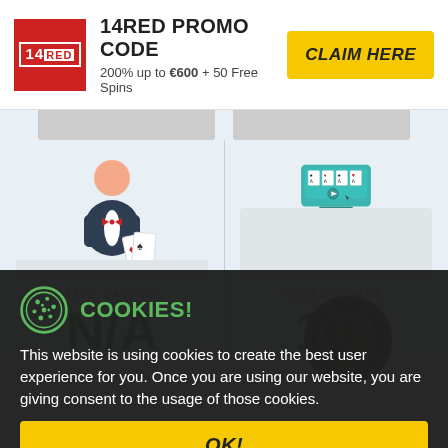14RED PROMO CODE | 200% up to €600 + 50 Free Spins | CLAIM HERE
[Figure (illustration): Live Casino category card with dealer icon holding cards, label 'LIVE CASINO', value 'N/A' in green]
[Figure (illustration): Video Poker category card with playing cards device icon, label 'VIDEO POKER', value '10%' in green]
COOKIES!
This website is using cookies to create the best user experience for you. Once you are using our website, you are giving consent to the usage of those cookies.
OK!